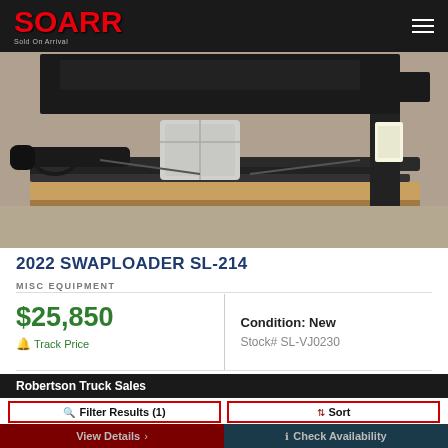SOARR - Sold On Arrival
[Figure (photo): Photo of a 2022 Swaploader SL-214 hoist system on wooden pallets, showing black metal arms and components outdoors on gravel.]
2022 SWAPLOADER SL-214
MISC EQUIPMENT
$25,850
Track Price
Condition: New
Stock# SL-VJ0230
Robertson Truck Sales
Filter Results (1)
Sort
View Details
Check Availability